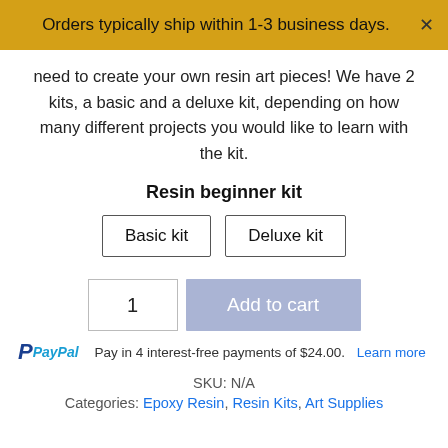Orders typically ship within 1-3 business days.
need to create your own resin art pieces! We have 2 kits, a basic and a deluxe kit, depending on how many different projects you would like to learn with the kit.
Resin beginner kit
Basic kit   Deluxe kit
1   Add to cart
PayPal Pay in 4 interest-free payments of $24.00. Learn more
SKU: N/A
Categories: Epoxy Resin, Resin Kits, Art Supplies